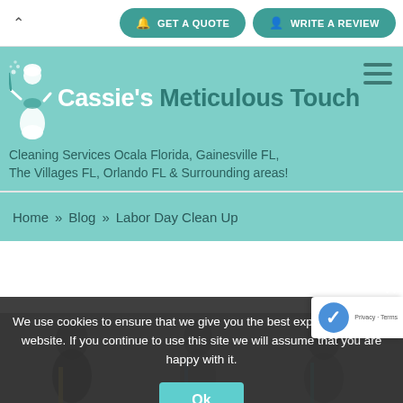GET A QUOTE | WRITE A REVIEW
[Figure (logo): Cassie's Meticulous Touch logo with maid silhouette illustration]
Cassie's Meticulous Touch
Cleaning Services Ocala Florida, Gainesville FL, The Villages FL, Orlando FL & Surrounding areas!
Home » Blog » Labor Day Clean Up
We use cookies to ensure that we give you the best experience on our website. If you continue to use this site we will assume that you are happy with it.